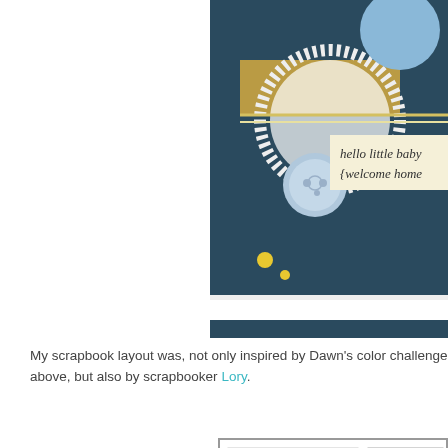[Figure (photo): Close-up of a scrapbook card showing a blue button, gold glitter border, white doily, and blue/yellow accents with text reading 'hello little baby {welcome home']
My scrapbook layout was, not only inspired by Dawn's color challenge above, but also by scrapbooker Lory.
[Figure (illustration): Scrapbook layout sketch/diagram showing boxes labeled 'journaling', 'title', 'photo', 'photo' on the left side and various gray/pink rectangular blocks on the right side with a circular element]